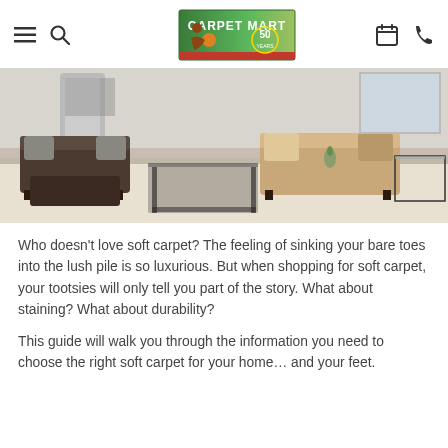Carpet Mart (logo) — navigation header with hamburger menu, search, calendar, and phone icons
[Figure (photo): Living room interior with two sofas, a glass coffee table, and light beige carpet flooring]
Who doesn't love soft carpet? The feeling of sinking your bare toes into the lush pile is so luxurious. But when shopping for soft carpet, your tootsies will only tell you part of the story. What about staining? What about durability?
This guide will walk you through the information you need to choose the right soft carpet for your home… and your feet.